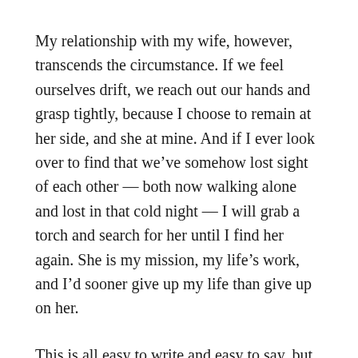My relationship with my wife, however, transcends the circumstance. If we feel ourselves drift, we reach out our hands and grasp tightly, because I choose to remain at her side, and she at mine. And if I ever look over to find that we've somehow lost sight of each other — both now walking alone and lost in that cold night — I will grab a torch and search for her until I find her again. She is my mission, my life's work, and I'd sooner give up my life than give up on her.
This is all easy to write and easy to say, but, I realize, harder to do. That's why those of us out here in the thick of it could always use guidance and inspiration, not defeatism and wimpy